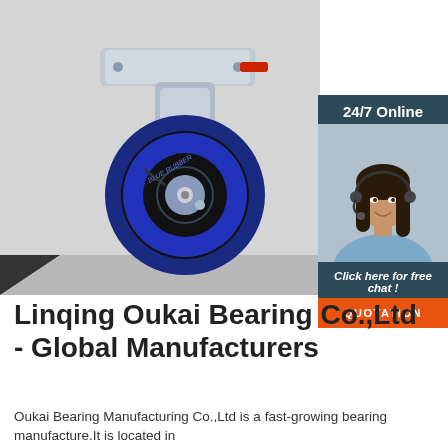[Figure (photo): Photo of a blue rubber caster wheel with metal bracket and red brake lever, on a light gray background]
[Figure (infographic): 24/7 Online chat widget with a female customer service agent wearing a headset, and an orange QUOTATION button]
Linqing Oukai Bearing Co.,Ltd - Global Manufacturers
Oukai Bearing Manufacturing Co.,Ltd is a fast-growing bearing manufacture.It is located in